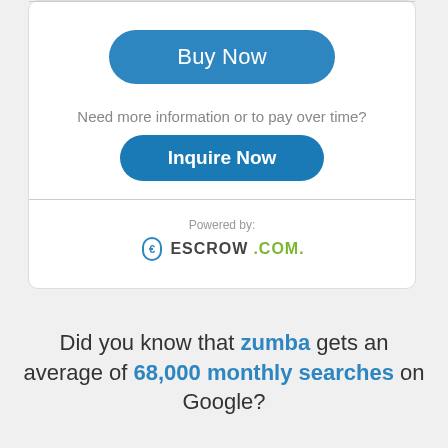[Figure (screenshot): Buy Now button - large pill-shaped blue button with white text]
Need more information or to pay over time?
[Figure (screenshot): Inquire Now button - pill-shaped blue button with white bold text]
Powered by:
[Figure (logo): Escrow.com logo with shield icon and text ESCROW.COM in dark and green]
Did you know that zumba gets an average of 68,000 monthly searches on Google?